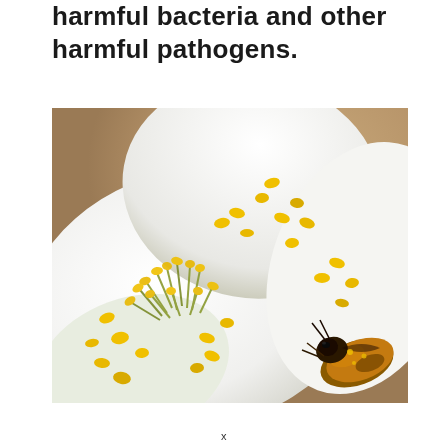harmful bacteria and other harmful pathogens.
[Figure (photo): Close-up macro photograph of a white flower with yellow pollen-tipped stamens and a honeybee on the right side collecting pollen, against a warm beige background.]
x